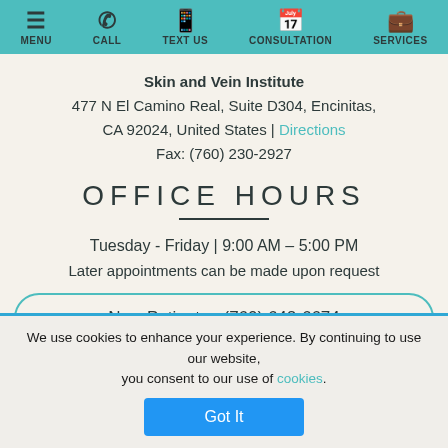MENU | CALL | TEXT US | CONSULTATION | SERVICES
Skin and Vein Institute
477 N El Camino Real, Suite D304, Encinitas, CA 92024, United States | Directions
Fax: (760) 230-2927
OFFICE HOURS
Tuesday - Friday | 9:00 AM – 5:00 PM
Later appointments can be made upon request
New Patients - (760) 642-6674
Existing Patients - (760) 452-2080
We use cookies to enhance your experience. By continuing to use our website, you consent to our use of cookies.